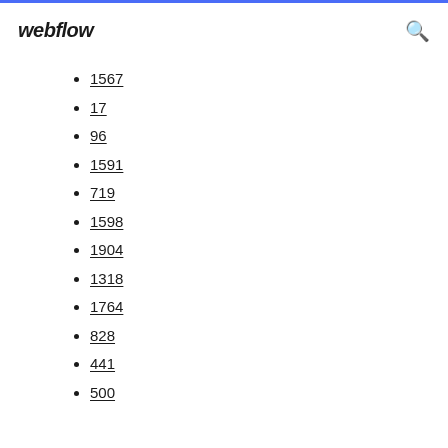webflow
1567
17
96
1591
719
1598
1904
1318
1764
828
441
500